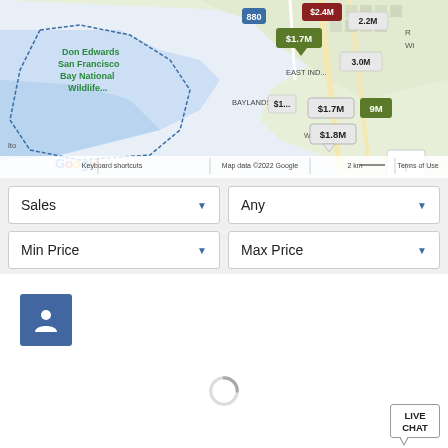[Figure (map): Google Maps view showing Don Edwards San Francisco Bay National Wildlife area, Baylands, East Industrial area, with real estate price markers ($1.7M, $1.8M, $2.2M, $2.4M, $3.0M etc.). Includes Google logo, keyboard shortcuts, map data copyright, scale bar and zoom controls.]
Sales | Any | Min Price | Max Price — dropdown filter selectors
[Figure (other): Blue square button with white person/profile icon]
[Figure (other): Loading spinner (circular progress indicator)]
LIVE CHAT